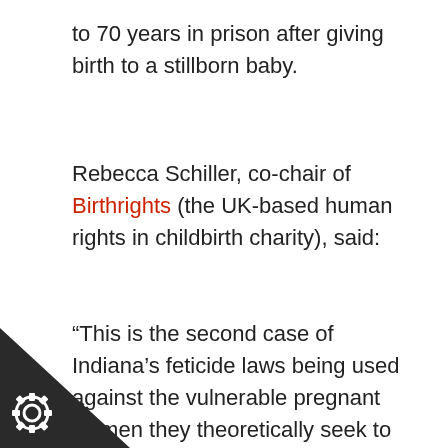to 70 years in prison after giving birth to a stillborn baby.
Rebecca Schiller, co-chair of Birthrights (the UK-based human rights in childbirth charity), said:
“This is the second case of Indiana’s feticide laws being used against the vulnerable pregnant women they theoretically seek to protect. It is a worrying demonstration of what happens when the come of individual pregnancies is made
[Figure (illustration): Dark triangular corner decoration in bottom-left with a gear/cog icon]